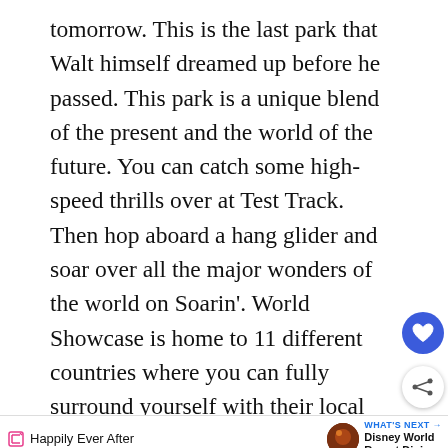tomorrow. This is the last park that Walt himself dreamed up before he passed. This park is a unique blend of the present and the world of the future. You can catch some high-speed thrills over at Test Track. Then hop aboard a hang glider and soar over all the major wonders of the world on Soarin'. World Showcase is home to 11 different countries where you can fully surround yourself with their local culture. Each country even hosts cast members from that very country.
[Figure (screenshot): Happily Ever After navigation bar with What's Next Disney World Resort Dining promo, fireworks thumbnail, and Operation Gratitude advertisement banner]